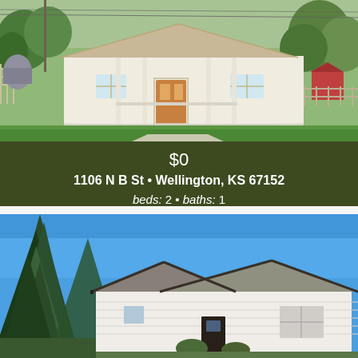[Figure (photo): Exterior photo of a small white single-story bungalow house with a porch, lattice skirting, green lawn, and surrounding trees. The house is at 1106 N B St, Wellington, KS.]
$0
1106 N B St • Wellington, KS 67152
beds: 2 • baths: 1
[Figure (photo): Exterior photo of a white single-story cottage-style house with a dark roof, set against a bright blue sky, with tall evergreen trees on the left side.]